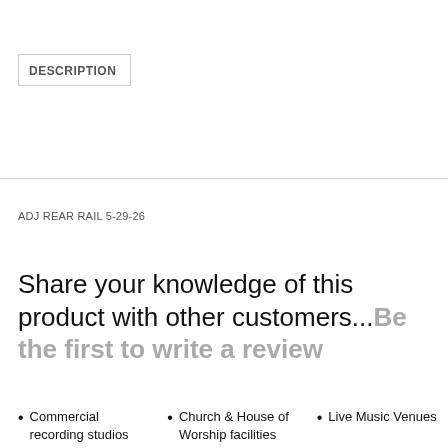DESCRIPTION
ADJ REAR RAIL 5-29-26
Share your knowledge of this product with other customers...Be the first to write a review
Commercial recording studios
Church & House of Worship facilities
Live Music Venues